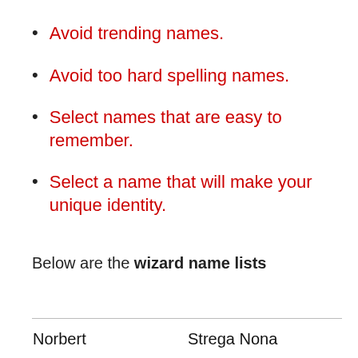Avoid trending names.
Avoid too hard spelling names.
Select names that are easy to remember.
Select a name that will make your unique identity.
Below are the wizard name lists
| Norbert | Strega Nona |
| --- | --- |